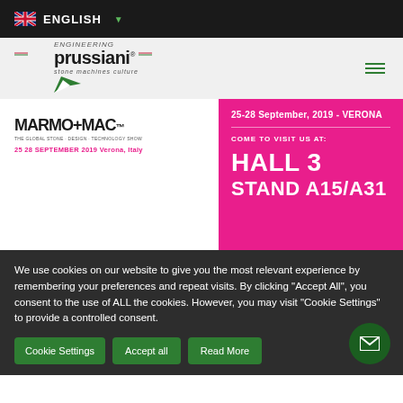ENGLISH (dropdown)
[Figure (logo): Prussiani Engineering logo with text 'prussiani' and tagline 'stone machines culture']
[Figure (logo): MARMO+MAC logo with text '25 28 SEPTEMBER 2019 Verona, Italy']
25-28 September, 2019 - VERONA
COME TO VISIT US AT:
HALL 3 STAND A15/A31
We use cookies on our website to give you the most relevant experience by remembering your preferences and repeat visits. By clicking "Accept All", you consent to the use of ALL the cookies. However, you may visit "Cookie Settings" to provide a controlled consent.
Cookie Settings | Accept all | Read More